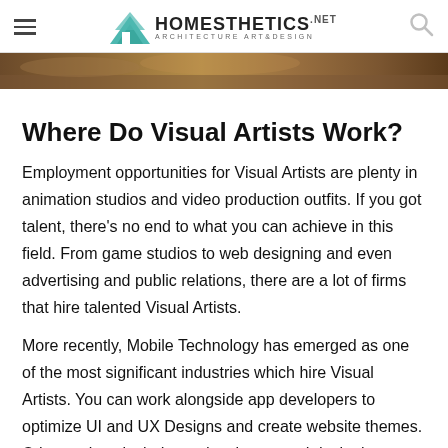Homesthetics — Architecture Art & Design
[Figure (photo): Partial hero image strip showing a warm-toned photograph (brown/golden tones), cropped to a thin horizontal band]
Where Do Visual Artists Work?
Employment opportunities for Visual Artists are plenty in animation studios and video production outfits. If you got talent, there's no end to what you can achieve in this field. From game studios to web designing and even advertising and public relations, there are a lot of firms that hire talented Visual Artists.
More recently, Mobile Technology has emerged as one of the most significant industries which hire Visual Artists. You can work alongside app developers to optimize UI and UX Designs and create website themes. Other options include product layout and designing, creating attractive magazine